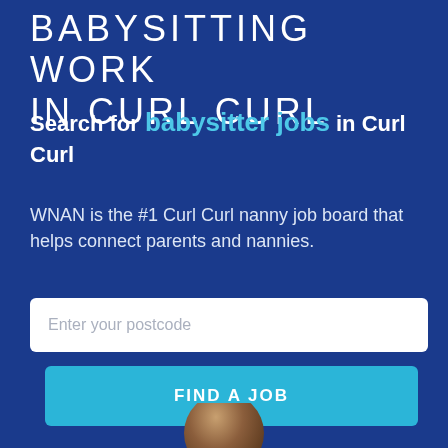BABYSITTING WORK IN CURL CURL
Search for babysitter jobs in Curl Curl
WNAN is the #1 Curl Curl nanny job board that helps connect parents and nannies.
[Figure (screenshot): Text input field with placeholder text 'Enter your postcode' on white background with rounded corners]
[Figure (screenshot): Blue button labeled 'FIND A JOB' in bold white uppercase letters]
[Figure (photo): Partial photo of a person with curly hair visible at the bottom of the page]